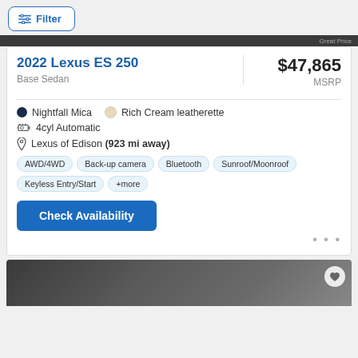Filter
2022 Lexus ES 250
Base Sedan
$47,865 MSRP
Nightfall Mica  Rich Cream leatherette
4cyl Automatic
Lexus of Edison (923 mi away)
AWD/4WD  Back-up camera  Bluetooth  Sunroof/Moonroof  Keyless Entry/Start  +more
Check Availability
[Figure (photo): Bottom portion of a car listing page showing a vehicle photo with a heart/save button]